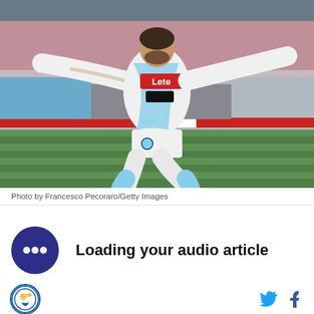[Figure (photo): A Napoli football player in white and light blue kit with arms outstretched celebrating on a football pitch, with stadium seats visible in the background. The kit shows 'Lete' sponsor on the chest.]
Photo by Francesco Pecoraro/Getty Images
Loading your audio article
[Figure (logo): Bleacher Report logo circle at bottom left, with Twitter and Facebook social media icons at bottom right]